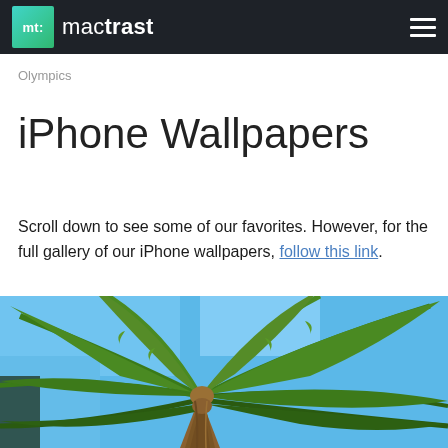mactrast
Olympics
iPhone Wallpapers
Scroll down to see some of our favorites. However, for the full gallery of our iPhone wallpapers, follow this link.
[Figure (photo): Close-up photo of a palm tree with green fronds against a bright blue sky]